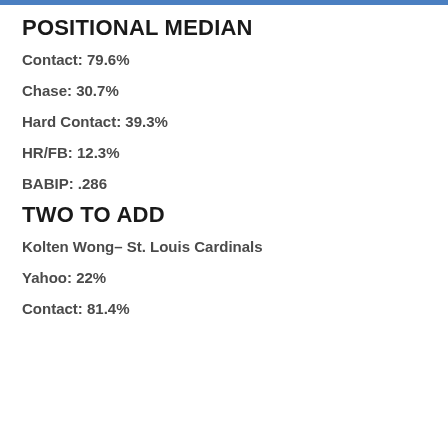POSITIONAL MEDIAN
Contact: 79.6%
Chase: 30.7%
Hard Contact: 39.3%
HR/FB: 12.3%
BABIP: .286
TWO TO ADD
Kolten Wong– St. Louis Cardinals
Yahoo: 22%
Contact: 81.4%